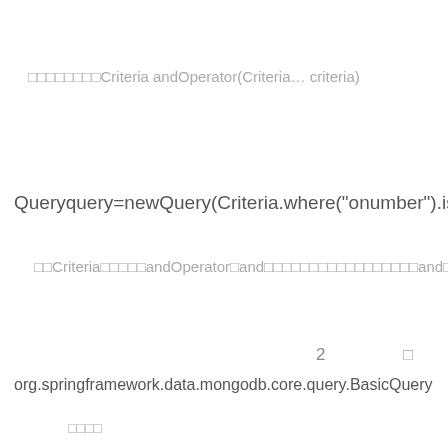□□□□□□□□Criteria andOperator(Criteria… criteria)
Queryquery=newQuery(Criteria.where("onumber").is("002").a
□□Criteria□□□□□andOperator□and□□□□□□□□□□□□□□□□□□and□□□
2   □
org.springframework.data.mongodb.core.query.BasicQuery
□□□□